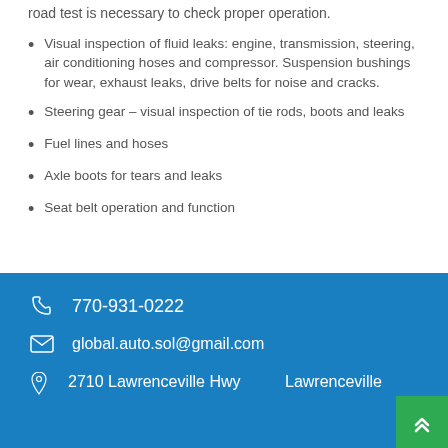road test is necessary to check proper operation.
Visual inspection of fluid leaks: engine, transmission, steering, air conditioning hoses and compressor. Suspension bushings for wear, exhaust leaks, drive belts for noise and cracks.
Steering gear – visual inspection of tie rods, boots and leaks
Fuel lines and hoses
Axle boots for tears and leaks
Seat belt operation and function
770-931-0222
global.auto.sol@gmail.com
2710 Lawrenceville Hwy    Lawrenceville